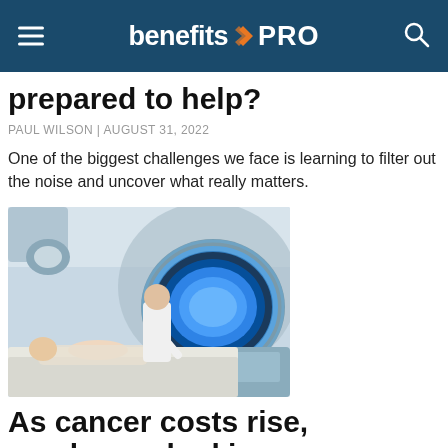benefitsPRO
prepared to help?
PAUL WILSON | AUGUST 31, 2022
One of the biggest challenges we face is learning to filter out the noise and uncover what really matters.
[Figure (photo): A doctor in a white coat assists a patient lying on a medical imaging machine (likely a radiation therapy or MRI scanner) with a glowing blue ring.]
As cancer costs rise, employers looking